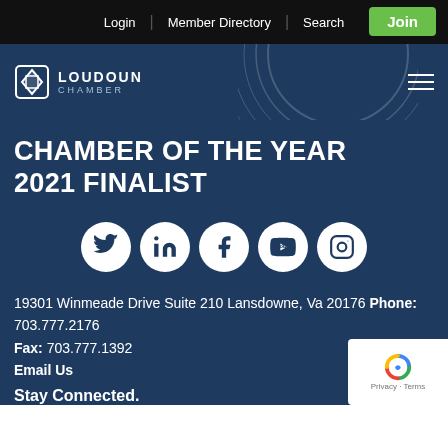Login | Member Directory | Search | Join
[Figure (logo): Loudoun Chamber logo with diamond/geometric icon and text LOUDOUN CHAMBER]
CHAMBER OF THE YEAR 2021 FINALIST
[Figure (infographic): Row of 5 social media icons in white circles on dark blue background: Twitter, LinkedIn, Facebook, YouTube, Instagram]
19301 Winmeade Drive Suite 210 Lansdowne, Va 20176 Phone: 703.777.2176
Fax: 703.777.1392
Email Us
Stay Connected.